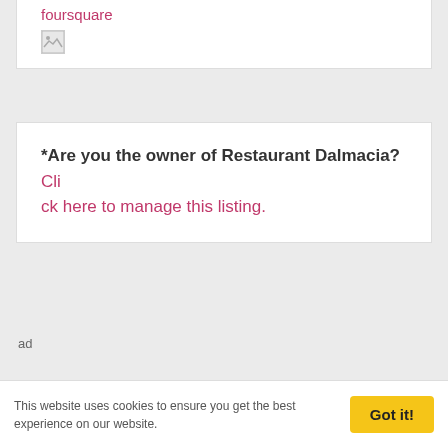foursquare
[Figure (photo): Broken image thumbnail placeholder]
*Are you the owner of Restaurant Dalmacia? Click here to manage this listing.
ad
This website uses cookies to ensure you get the best experience on our website.
Got it!